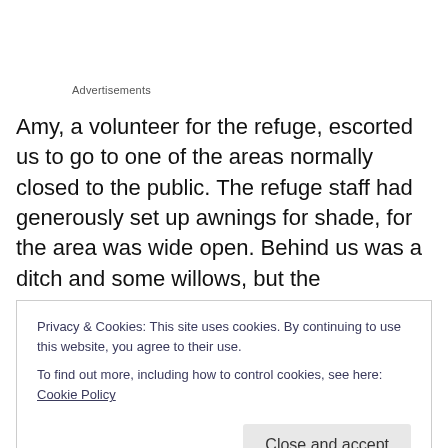Advertisements
Amy, a volunteer for the refuge, escorted us to go to one of the areas normally closed to the public. The refuge staff had generously set up awnings for shade, for the area was wide open. Behind us was a ditch and some willows, but the wildflowers were in a huge open area to our west. We parked in a gravel lot normally used by hunters in the fall —otherwise, few people ever came out here.
Privacy & Cookies: This site uses cookies. By continuing to use this website, you agree to their use.
To find out more, including how to control cookies, see here: Cookie Policy
Close and accept
stopped, then backed out and drove off. What we didn't